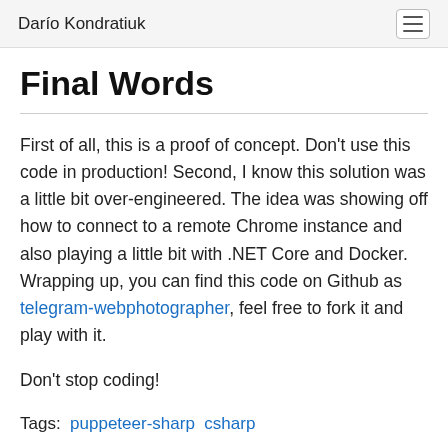Darío Kondratiuk
Final Words
First of all, this is a proof of concept. Don't use this code in production! Second, I know this solution was a little bit over-engineered. The idea was showing off how to connect to a remote Chrome instance and also playing a little bit with .NET Core and Docker. Wrapping up, you can find this code on Github as telegram-webphotographer, feel free to fork it and play with it.
Don't stop coding!
Tags:  puppeteer-sharp  csharp